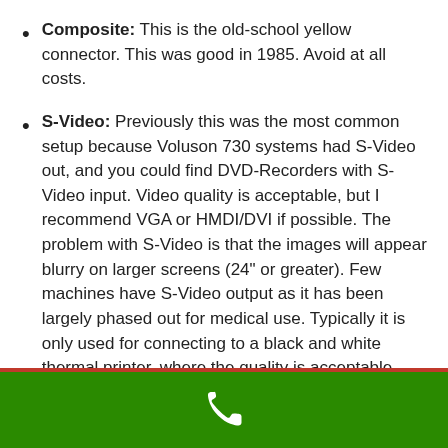Composite: This is the old-school yellow connector. This was good in 1985. Avoid at all costs.
S-Video: Previously this was the most common setup because Voluson 730 systems had S-Video out, and you could find DVD-Recorders with S-Video input. Video quality is acceptable, but I recommend VGA or HMDI/DVI if possible. The problem with S-Video is that the images will appear blurry on larger screens (24” or greater). Few machines have S-Video output as it has been largely phased out for medical use. Typically it is only used for connecting to a black and white thermal printer, where the quality is acceptable.
VGA: This is becoming the most commonly found